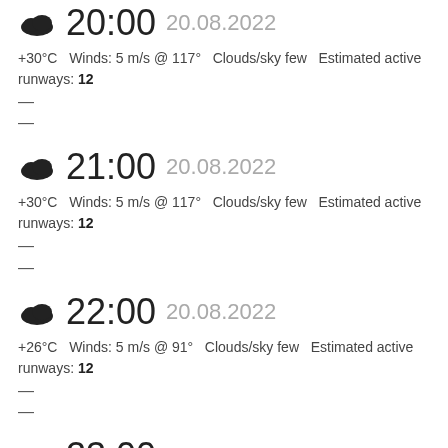20:00  20.08.2022
+30°C  Winds: 5 m/s @ 117°  Clouds/sky few  Estimated active runways: 12
—
—
21:00  20.08.2022
+30°C  Winds: 5 m/s @ 117°  Clouds/sky few  Estimated active runways: 12
—
—
22:00  20.08.2022
+26°C  Winds: 5 m/s @ 91°  Clouds/sky few  Estimated active runways: 12
—
—
23:00  20.08.2022